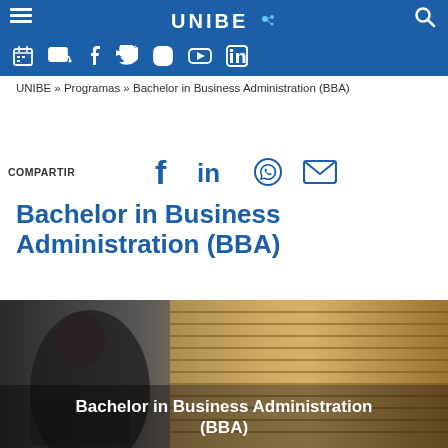[Figure (screenshot): UNIBE university website navigation bar with logo, hamburger menu, search icon, and social media icons (calendar, email, Facebook, Twitter, Instagram, YouTube, LinkedIn) on blue background]
UNIBE » Programas » Bachelor in Business Administration (BBA)
COMPARTIR
[Figure (other): Social media share icons: Facebook, LinkedIn, WhatsApp, Email]
Bachelor in Business Administration (BBA)
[Figure (photo): Woman with laptop sitting near window with blinds, with text overlay reading 'Bachelor in Business Administration (BBA)']